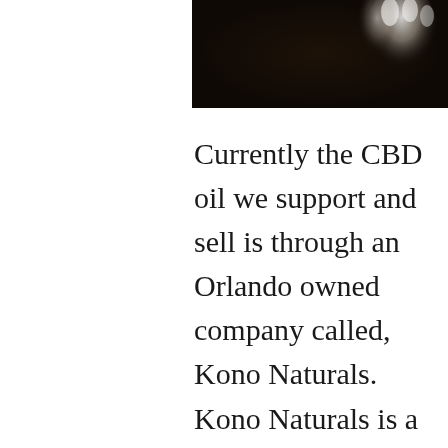[Figure (photo): Dark background photo showing what appears to be a white-furred paw or animal against a dark surface]
Currently the CBD oil we support and sell is through an Orlando owned company called, Kono Naturals. Kono Naturals is a collection of organic, sustainable Cannabidiol (CBD) products carefully designed to offer a safe and natural alternative to managing pain, mental health and promoting general wellness. Their products are extracted from 100% Hemp plants and are 3rd party tested to ensure the integrity of oil, potency, and confirm the absence of chemicals and solvents. Kono Naturals also works closely with farmers in Colorado to provide you with the purest, most potent hemp extracts. Their hemp is grown using sustainable farming practices